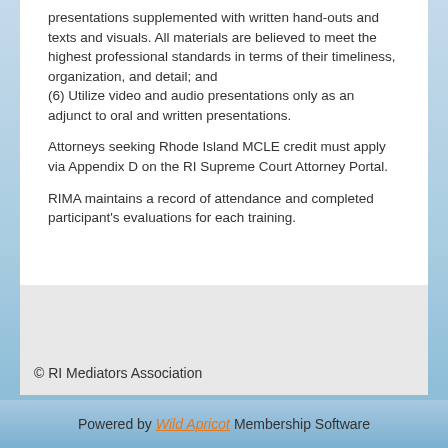presentations supplemented with written hand-outs and texts and visuals. All materials are believed to meet the highest professional standards in terms of their timeliness, organization, and detail; and
(6) Utilize video and audio presentations only as an adjunct to oral and written presentations.
Attorneys seeking Rhode Island MCLE credit must apply via Appendix D on the RI Supreme Court Attorney Portal.
RIMA maintains a record of attendance and completed participant's evaluations for each training.
© RI Mediators Association
Powered by Wild Apricot Membership Software